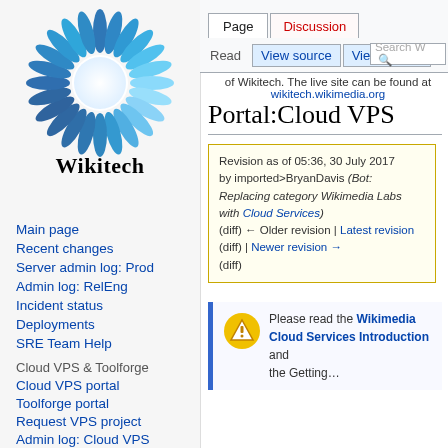[Figure (logo): Wikitech logo: blue flower/sunflower circular design above the word Wikitech]
Main page
Recent changes
Server admin log: Prod
Admin log: RelEng
Incident status
Deployments
SRE Team Help
Cloud VPS & Toolforge
Cloud VPS portal
Toolforge portal
Request VPS project
Admin log: Cloud VPS
Page | Discussion | Read | View source | View history | Search W | Log in
of Wikitech. The live site can be found at wikitech.wikimedia.org
Portal:Cloud VPS
Revision as of 05:36, 30 July 2017 by imported>BryanDavis (Bot: Replacing category Wikimedia Labs with Cloud Services)
(diff) ← Older revision | Latest revision (diff) | Newer revision → (diff)
Please read the Wikimedia Cloud Services Introduction and the Getting...